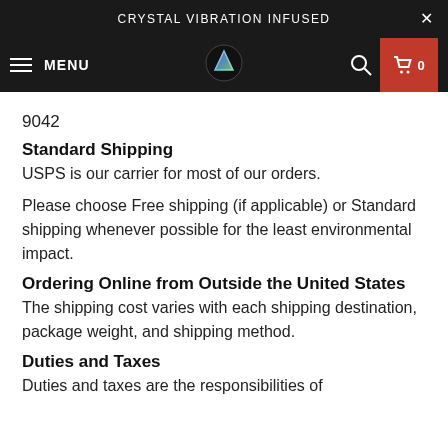CRYSTAL VIBRATION INFUSED
9042
Standard Shipping
USPS is our carrier for most of our orders.
Please choose Free shipping (if applicable) or Standard shipping whenever possible for the least environmental impact.
Ordering Online from Outside the United States
The shipping cost varies with each shipping destination, package weight, and shipping method.
Duties and Taxes
Duties and taxes are the responsibilities of